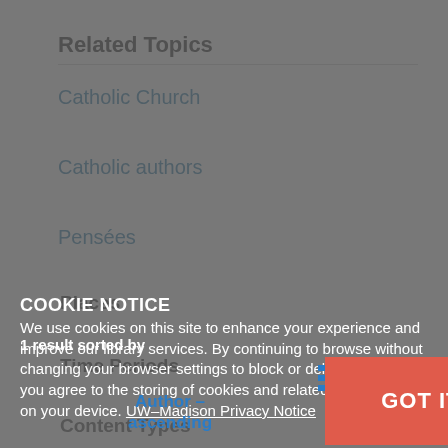Related Topics
Catholic Church
Catholic authors
Pensées
Places
Time Periods
Content Types
COOKIE NOTICE
We use cookies on this site to enhance your experience and improve our library services. By continuing to browse without changing your browser settings to block or delete cookies, you agree to the storing of cookies and related technologies on your device. UW–Madison Privacy Notice
1 result sorted by
Author – ascending
GOT IT!